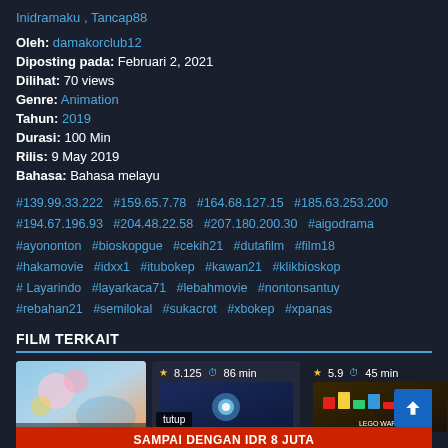Inidramaku , Tancap88
Oleh: damakorclub12
Diposting pada: Februari 2, 2021
Dilihat: 70 views
Genre: Animation
Tahun: 2019
Durasi: 100 Min
Rilis: 9 May 2019
Bahasa: Bahasa melayu
#139.99.33.222 #159.65.7.78 #164.68.127.15 #185.63.253.200 #194.67.196.93 #204.48.22.58 #207.180.200.30 #aigodrama #ayononton #bioskopgue #cekih21 #dutafilm #film18 #hakamovie #idxx1 #itubokep #kawan21 #klikbioskop #Layarindo #layarkaca71 #lebahmovie #nontonsantuy #rebahan21 #semilokal #sukacrot #xbokep #xpanas
FILM TERKAIT
[Figure (screenshot): Row of related film thumbnails with star ratings and duration badges. First: animated film thumbnail. Second card: rating 8.125, 86 min. Third card: rating 5.9, 45 min. A red banner reads SAMPAI DENGAN IDR 8 JUTA. Back-to-top blue button.]